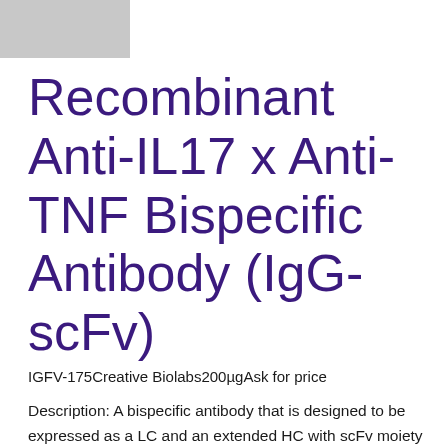[Figure (logo): Gray rectangle placeholder for company logo in top-left corner]
Recombinant Anti-IL17 x Anti-TNF Bispecific Antibody (IgG-scFv)
IGFV-175    Creative Biolabs         200µg    Ask for price
Description: A bispecific antibody that is designed to be expressed as a LC and an extended HC with scFv moiety linked to the C terminus. It is a symmetric bispecific and tetravalent molecule, 2+2 antigen-binding valency. This BsAb can block two proinflammatory cytokines simultaneously. It is designed for the research of Rheumatoid arthritis (RA); Plaque